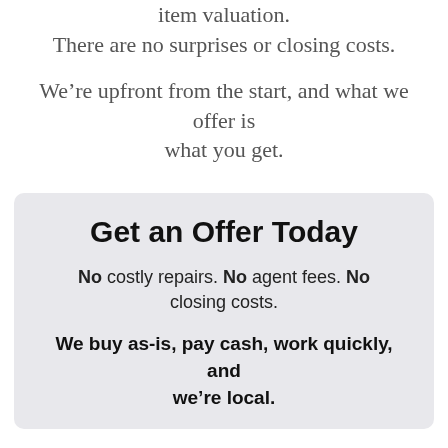item valuation. There are no surprises or closing costs.
We’re upfront from the start, and what we offer is what you get.
Get an Offer Today
No costly repairs. No agent fees. No closing costs.
We buy as-is, pay cash, work quickly, and we’re local.